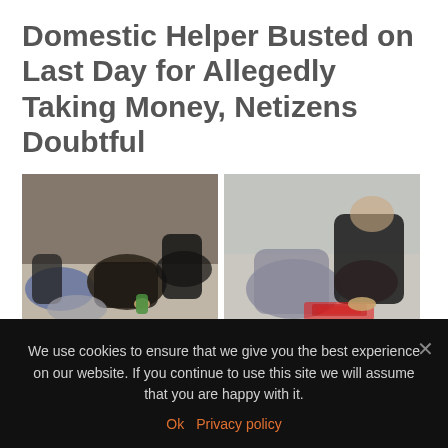Domestic Helper Busted on Last Day for Allegedly Taking Money, Netizens Doubtful
[Figure (photo): Two side-by-side video stills showing people on the floor with a bag and what appears to be money, related to a domestic helper theft incident]
We use cookies to ensure that we give you the best experience on our website. If you continue to use this site we will assume that you are happy with it.
Ok  Privacy policy